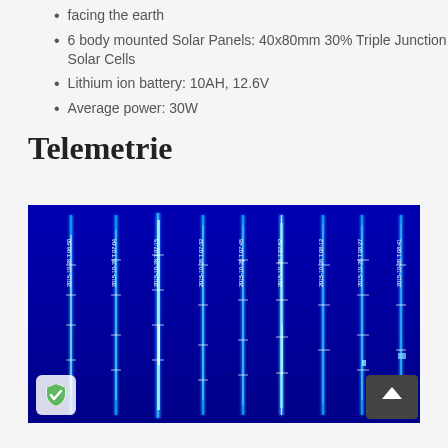facing the earth
6 body mounted Solar Panels: 40x80mm 30% Triple Junction GaAs Solar Cells
Lithium ion battery: 10AH, 12.6V
Average power: 30W
Telemetrie
[Figure (photo): Waterfall/spectrogram display showing telemetry signals over time. Multiple vertical bright cyan/white streaks on a dark blue background representing signal traces. Timestamps along the top: 2015-10-28 T 06:50, 2015-10-28 T 07:04, 2015-10-28 T 07:15, 2015-10-28 T 07:32, 2015-10-28 T 07:45, 2015-10-28 T 07:52, 2015-10-28 T 08:12, 2015-10-28 T 08:27, 2015-10-28 T 08:41. A scroll-to-top button appears at the bottom-right corner.]